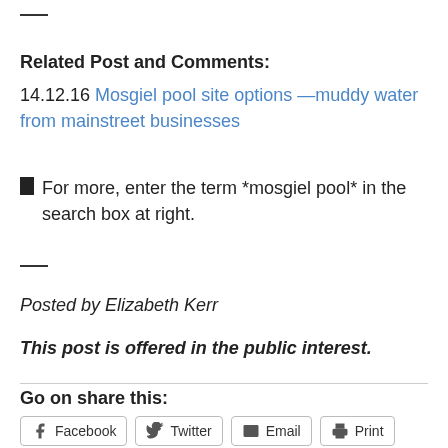Related Post and Comments:
14.12.16 Mosgiel pool site options —muddy water from mainstreet businesses
▪ For more, enter the term *mosgiel pool* in the search box at right.
Posted by Elizabeth Kerr
This post is offered in the public interest.
Go on share this:
Facebook | Twitter | Email | Print